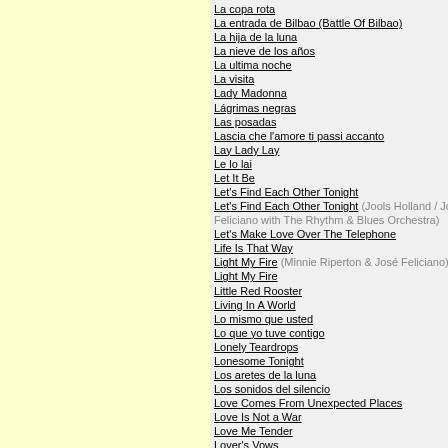La copa rota
La entrada de Bilbao (Battle Of Bilbao)
La hija de la luna
La nieve de los años
La ultima noche
La visita
Lady Madonna
Lágrimas negras
Las posadas
Lascia che l'amore ti passi accanto
Lay Lady Lay
Le lo lai
Let It Be
Let's Find Each Other Tonight
Let's Find Each Other Tonight (Jools Holland / Jos Feliciano with The Rhythm & Blues Orchestra)
Let's Make Love Over The Telephone
Life Is That Way
Light My Fire (Minnie Riperton & José Feliciano)
Light My Fire
Little Red Rooster
Living In A World
Lo mismo que usted
Lo que yo tuve contigo
Lonely Teardrops
Lonesome Tonight
Los aretes de la luna
Los sonidos del silencio
Love Comes From Unexpected Places
Love Is Not a War
Love Me Tender
Lover's Vows
Loving Her Was Easier
Luz y sombras
Madrigal
Magnolia
Malagueña